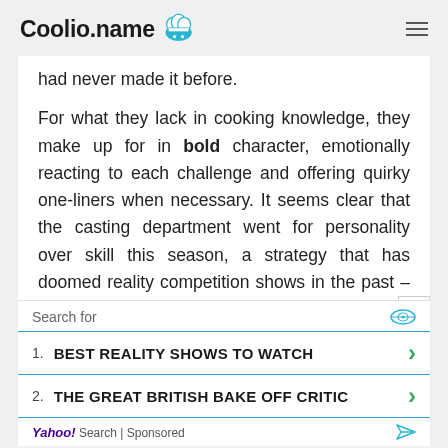Coolio.name
had never made it before.
For what they lack in cooking knowledge, they make up for in bold character, emotionally reacting to each challenge and offering quirky one-liners when necessary. It seems clear that the casting department went for personality over skill this season, a strategy that has doomed reality competition shows in the past – just think of the years on "Project Runway" when contestants were close to becoming...
Search for
1. BEST REALITY SHOWS TO WATCH
2. THE GREAT BRITISH BAKE OFF CRITIC
Yahoo! Search | Sponsored